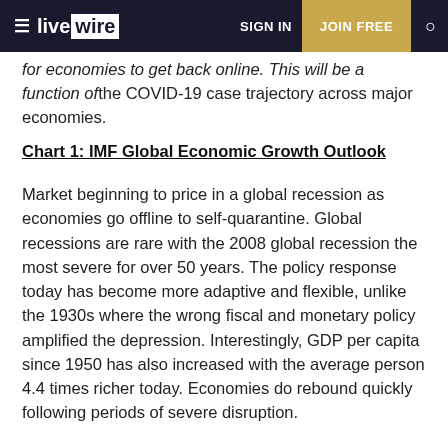livewire | SIGN IN | JOIN FREE
for economies to get back online. This will be a function of the COVID-19 case trajectory across major economies.
Chart 1: IMF Global Economic Growth Outlook
Market beginning to price in a global recession as economies go offline to self-quarantine. Global recessions are rare with the 2008 global recession the most severe for over 50 years. The policy response today has become more adaptive and flexible, unlike the 1930s where the wrong fiscal and monetary policy amplified the depression. Interestingly, GDP per capita since 1950 has also increased with the average person 4.4 times richer today. Economies do rebound quickly following periods of severe disruption.